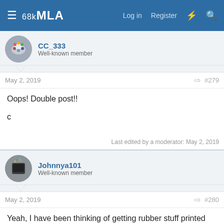68kMLA — Log in  Register
CC_333
Well-known member
May 2, 2019  #279
Oops! Double post!!

c
Last edited by a moderator: May 2, 2019
Johnnya101
Well-known member
May 2, 2019  #280
Yeah, I have been thinking of getting rubber stuff printed again.